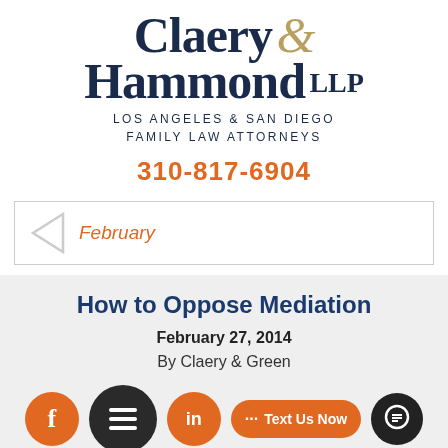[Figure (logo): Claery & Hammond LLP law firm logo with stylized text. 'Claery' and 'Hammond LLP' in dark navy serif font, ampersand in gold italic. Subtitle: LOS ANGELES & SAN DIEGO FAMILY LAW ATTORNEYS]
310-817-6904
February
How to Oppose Mediation
February 27, 2014
By Claery & Green
[Figure (infographic): Bottom navigation bar with Facebook icon circle (orange), hamburger menu circle (dark), LinkedIn icon circle (orange), and 'Text Us Now' button (orange) with chat bubble icon]